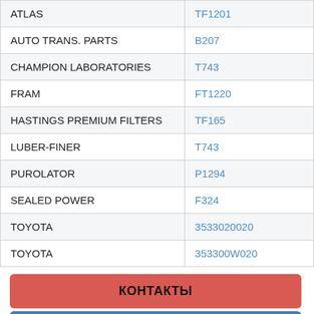| ATLAS | TF1201 |
| AUTO TRANS. PARTS | B207 |
| CHAMPION LABORATORIES | T743 |
| FRAM | FT1220 |
| HASTINGS PREMIUM FILTERS | TF165 |
| LUBER-FINER | T743 |
| PUROLATOR | P1294 |
| SEALED POWER | F324 |
| TOYOTA | 3533020020 |
| TOYOTA | 353300W020 |
КОНТАКТЫ
О нас